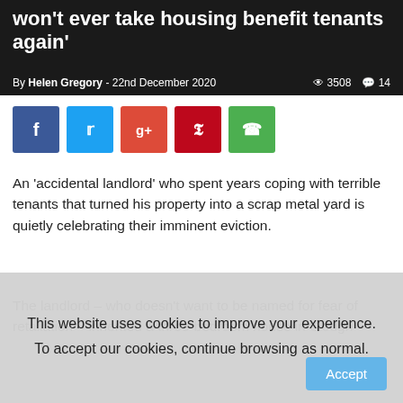won't ever take housing benefit tenants again'
By Helen Gregory - 22nd December 2020   3508   14
[Figure (other): Social media share buttons: Facebook, Twitter, Google+, Pinterest, WhatsApp]
An 'accidental landlord' who spent years coping with terrible tenants that turned his property into a scrap metal yard is quietly celebrating their imminent eviction.
The landlord – who doesn't want to be named for fear of retaliation – inherited a three-bedroom house in Slough
This website uses cookies to improve your experience. To accept our cookies, continue browsing as normal.